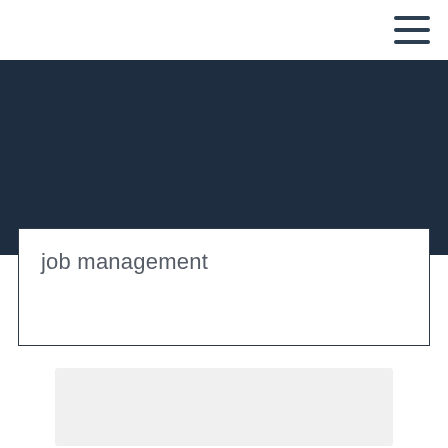[Figure (other): Dark navy blue banner/hero section]
job management
[Figure (other): Light gray content card placeholder at the bottom]